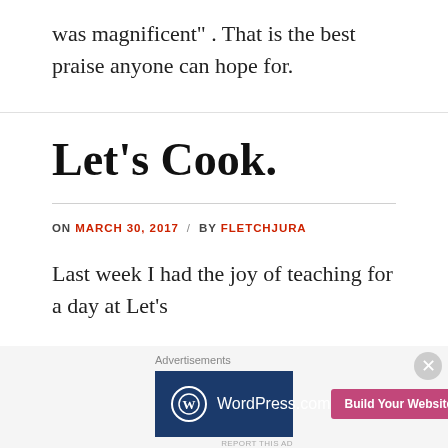was magnificent” . That is the best praise anyone can hope for.
Let’s Cook.
ON MARCH 30, 2017 / BY FLETCHJURA
Last week I had the joy of teaching for a day at Let’s
[Figure (other): WordPress.com advertisement banner with logo and 'Build Your Website' button]